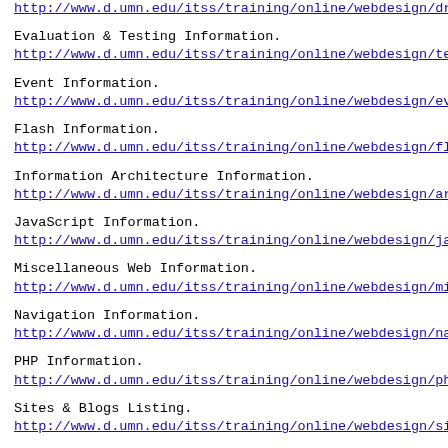http://www.d.umn.edu/itss/training/online/webdesign/drea...
Evaluation & Testing Information.
http://www.d.umn.edu/itss/training/online/webdesign/test...
Event Information.
http://www.d.umn.edu/itss/training/online/webdesign/event...
Flash Information.
http://www.d.umn.edu/itss/training/online/webdesign/flash...
Information Architecture Information.
http://www.d.umn.edu/itss/training/online/webdesign/arch...
JavaScript Information.
http://www.d.umn.edu/itss/training/online/webdesign/javas...
Miscellaneous Web Information.
http://www.d.umn.edu/itss/training/online/webdesign/misc...
Navigation Information.
http://www.d.umn.edu/itss/training/online/webdesign/navig...
PHP Information.
http://www.d.umn.edu/itss/training/online/webdesign/php.h...
Sites & Blogs Listing.
http://www.d.umn.edu/itss/training/online/webdesign/sites...
Standards, Guidelines & Pattern Information.
http://www.d.umn.edu/itss/training/online/webdesign/...